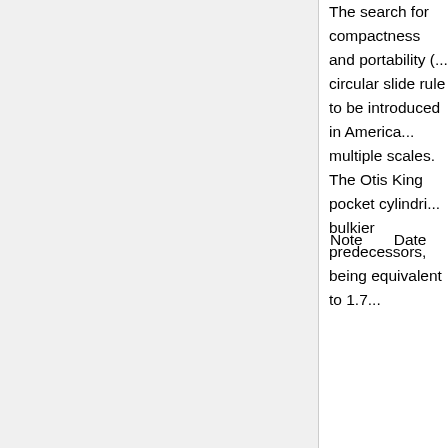The search for compactness and portability (... circular slide rule to be introduced in America... multiple scales. The Otis King pocket cylindri... bulkier predecessors, being equivalent to 1.7...
| Note | Date |
| --- | --- |
| (vi) | 1847 |